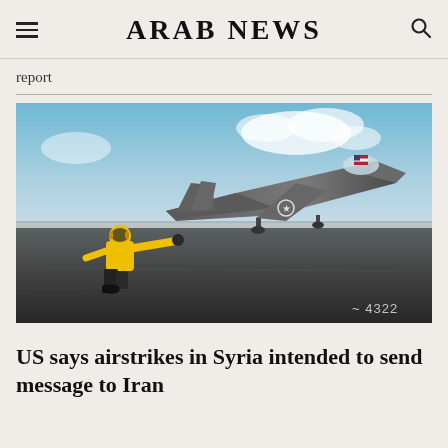ARAB NEWS
report
[Figure (photo): A US Navy flight deck crew member in a yellow jacket kneeling and signaling on an aircraft carrier deck, with an F-35 stealth fighter jet in the background bearing a US flag and star insignia. Watermark number 4322 visible.]
US says airstrikes in Syria intended to send message to Iran